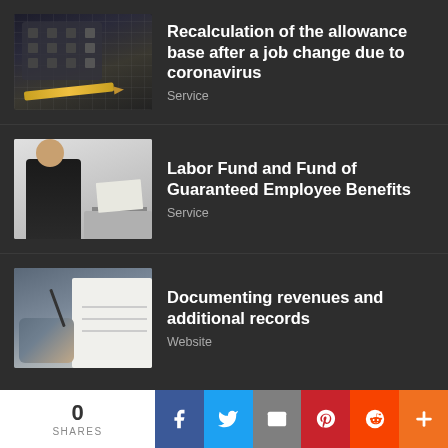[Figure (photo): Calculator and pencil on dark background]
Recalculation of the allowance base after a job change due to coronavirus
Service
[Figure (photo): Man in suit sitting at desk writing]
Labor Fund and Fund of Guaranteed Employee Benefits
Service
[Figure (photo): Hand writing on paper documents]
Documenting revenues and additional records
Website
2022 © https://mercymatters.net Hiring drivers - what are the employer's obligations?